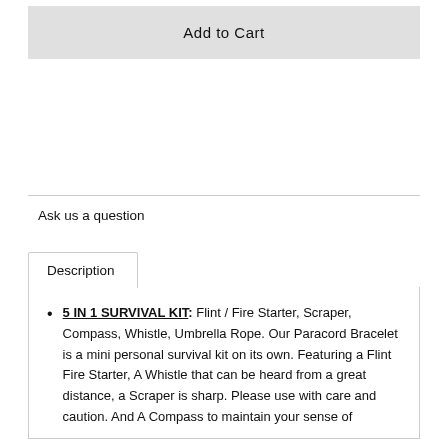Add to Cart
Ask us a question
Description
5 IN 1 SURVIVAL KIT: Flint / Fire Starter, Scraper, Compass, Whistle, Umbrella Rope. Our Paracord Bracelet is a mini personal survival kit on its own. Featuring a Flint Fire Starter, A Whistle that can be heard from a great distance, a Scraper is sharp. Please use with care and caution. And A Compass to maintain your sense of